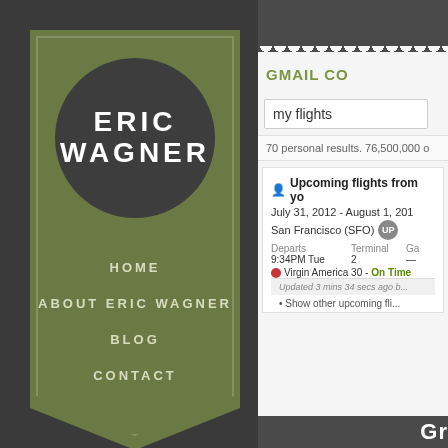ERIC WAGNER
HOME
ABOUT ERIC WAGNER
BLOG
CONTACT
GMAIL CO...
my flights
70 personal results. 76,500,000 ...
Upcoming flights from yo...
July 31, 2012 - August 1, 201...
San Francisco (SFO)
Departs  Terminal  Ga...
9:34PM Tue  2  —
Virgin America 30 - On Time
Updated 3 mins 34 secs ago b...
• Show other upcoming fli...